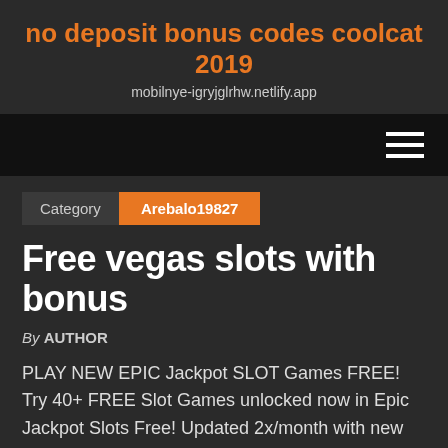no deposit bonus codes coolcat 2019
mobilnye-igryjglrhw.netlify.app
Category   Arebalo19827
Free vegas slots with bonus
By AUTHOR
PLAY NEW EPIC Jackpot SLOT Games FREE! Try 40+ FREE Slot Games unlocked now in Epic Jackpot Slots Free! Updated 2x/month with new FREE Slot machines with bonus games! Play Vegas Casino Slots Free with bonus games